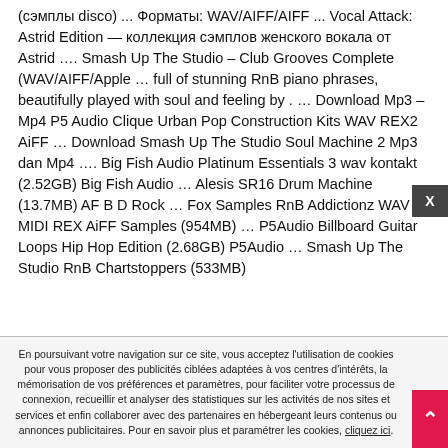(сэмплы disco) ... Форматы: WAV/AIFF/AIFF ... Vocal Attack: Astrid Edition — коллекция сэмплов женского вокала от Astrid …. Smash Up The Studio – Club Grooves Complete (WAV/AIFF/Apple … full of stunning RnB piano phrases, beautifully played with soul and feeling by . … Download Mp3 – Mp4 P5 Audio Clique Urban Pop Construction Kits WAV REX2 AiFF … Download Smash Up The Studio Soul Machine 2 Mp3 dan Mp4 …. Big Fish Audio Platinum Essentials 3 wav kontakt (2.52GB) Big Fish Audio … Alesis SR16 Drum Machine (13.7MB) AF B D Rock … Fox Samples RnB Addictionz WAV MIDI REX AiFF Samples (954MB) … P5Audio Billboard Guitar Loops Hip Hop Edition (2.68GB) P5Audio … Smash Up The Studio RnB Chartstoppers (533MB)
En poursuivant votre navigation sur ce site, vous acceptez l'utilisation de cookies pour vous proposer des publicités ciblées adaptées à vos centres d'intérêts, la mémorisation de vos préférences et paramètres, pour faciliter votre processus de connexion, recueillir et analyser des statistiques sur les activités de nos sites et services et enfin collaborer avec des partenaires en hébergeant leurs contenus ou annonces publicitaires. Pour en savoir plus et paramétrer les cookies, cliquez ici.